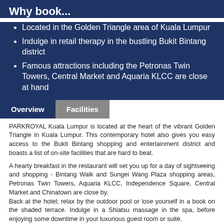Why book...
Located in the Golden Triangle area of Kuala Lumpur
Indulge in retail therapy in the bustling Bukit Bintang district
Famous attractions including the Petronas Twin Towers, Central Market and Aquaria KLCC are close at hand
Overview | Facilities
PARKROYAL Kuala Lumpur is located at the heart of the vibrant Golden Triangle in Kuala Lumpur. This contemporary hotel also gives you easy access to the Bukit Bintang shopping and entertainment district and boasts a list of on-site facilities that are hard to beat.
A hearty breakfast in the restaurant will set you up for a day of sightseeing and shopping - Bintang Walk and Sungei Wang Plaza shopping areas, Petronas Twin Towers, Aquaria KLCC, Independence Square, Central Market and Chinatown are close by.
Back at the hotel; relax by the outdoor pool or lose yourself in a book on the shaded terrace. Indulge in a Shiatsu massage in the spa, before enjoying some downtime in your luxurious guest room or suite.
The trio of restaurants tempt you with local and international delicacies. Tuck into tasty western and Malaysian dishes in Chatz Brasserie; savour an